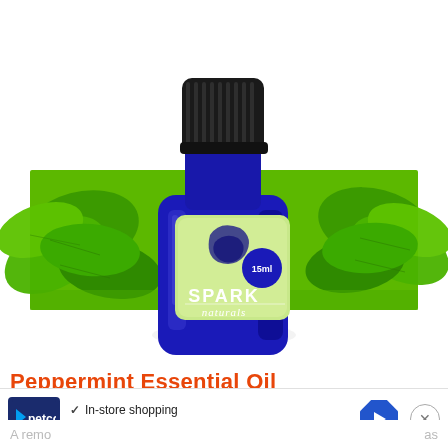[Figure (photo): A blue cobalt glass bottle of Spark Naturals essential oil (15ml) with black dropper cap, displayed against a background of green peppermint leaves. The bottle has a light green label with the Spark Naturals logo and '15ml' marking.]
Peppermint Essential Oil
[Figure (screenshot): Petco advertisement banner showing Petco logo with checkmarks for 'In-store shopping' and 'Curbside pickup', a blue navigation arrow icon, and an X close button.]
A remo... as